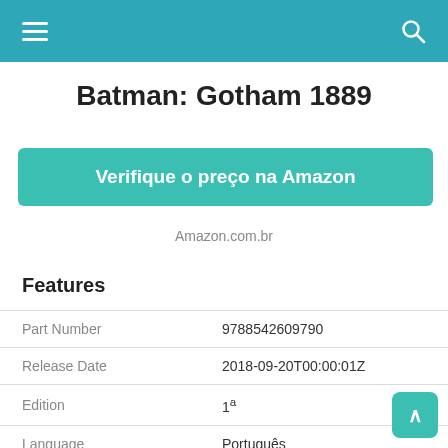≡  🔍
Batman: Gotham 1889
Verifique o preço na Amazon
Amazon.com.br
Features
|  |  |
| --- | --- |
| Part Number | 9788542609790 |
| Release Date | 2018-09-20T00:00:01Z |
| Edition | 1ª |
| Language | Português |
| Number Of Pages | 120 |
| Publication Date | 2018-09-07T00:00:01Z |